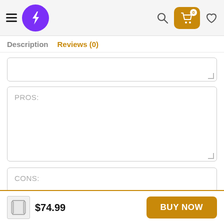Header with hamburger menu, lightning bolt logo, search icon, cart (0), and heart icon
Description   Reviews (0)
PROS:
CONS:
$74.99
BUY NOW